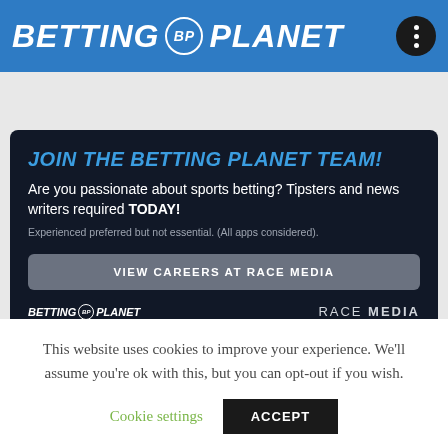BETTING BP PLANET
JOIN THE BETTING PLANET TEAM!
Are you passionate about sports betting? Tipsters and news writers required TODAY!
Experienced preferred but not essential. (All apps considered).
VIEW CAREERS AT RACE MEDIA
[Figure (logo): Betting Planet logo and Race Media logo in card footer]
This website uses cookies to improve your experience. We'll assume you're ok with this, but you can opt-out if you wish.
Cookie settings    ACCEPT